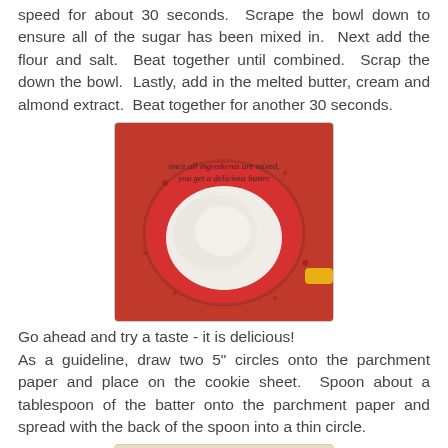speed for about 30 seconds.  Scrape the bowl down to ensure all of the sugar has been mixed in.  Next add the flour and salt.  Beat together until combined.  Scrap the down the bowl.  Lastly, add in the melted butter, cream and almond extract.  Beat together for another 30 seconds.
[Figure (photo): Top-down view of a red mixing bowl with white batter/dough inside, text overlay reads 'once all ingredients are mixed, you get a delicious batter']
Go ahead and try a taste - it is delicious!
As a guideline, draw two 5" circles onto the parchment paper and place on the cookie sheet.  Spoon about a tablespoon of the batter onto the parchment paper and spread with the back of the spoon into a thin circle.
[Figure (photo): Parchment paper with a drawn circle outline, a green rectangle (spatula/tool), and a round flat disc of batter on a baking sheet]